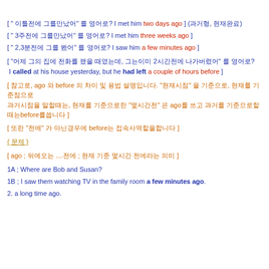[ " 이틀전에 그를만났어" 를 영어로? I met him two days ago ] (과거형, 현재완료)
[ " 3주전에 그를만났어" 를 영어로? I met him three weeks ago ]
[ " 2,3분전에 그를 봤어" 를 영어로? I saw him a few minutes ago ]
[ "어제 그의 집에 전화를 했을 때였는데, 그는이미 2시간전에 나가버렸어" 를 영어로?
 I called at his house yesterday, but he had left a couple of hours before ]
[ 참고로, ago 와 before 의 차이 및 용법 설명입니다. "현재시점" 을 기준으로, 현재를 기준점으로
 과거시점을 말할때는, 현재를 기준으로한 "몇시간전" 은 ago를 쓰고 과거를 기준으로할때는before를씁니다 ]
[ 또한 "전에" 가 아닌경우에 before는 접속사역할을합니다 ]
{ 문제 }
[ ago ; 뒤에오는 ....전에 ; 현재 기준 몇시간 전에라는 의미 ]
1A ; Where are Bob and Susan?
1B ; I saw them watching TV in the family room a few minutes ago.
2. a long time ago.